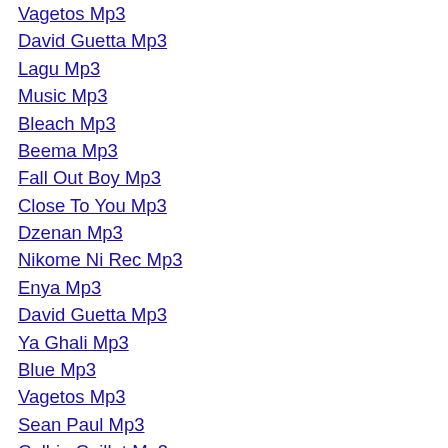Vagetos Mp3
David Guetta Mp3
Lagu Mp3
Music Mp3
Bleach Mp3
Beema Mp3
Fall Out Boy Mp3
Close To You Mp3
Dzenan Mp3
Nikome Ni Rec Mp3
Enya Mp3
David Guetta Mp3
Ya Ghali Mp3
Blue Mp3
Vagetos Mp3
Sean Paul Mp3
Colbie Caillat Mp3
Googoosh Mp3
Raya Mp3
Superman Mp3
Wedding March Mp3
Love Mp3
Madhushala Mp3
Colbie Caillat Mp3
Pokemon Mp3
Slai Mp3